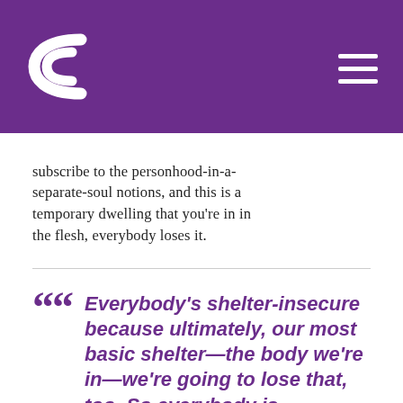[Figure (logo): Curved C logo icon in white on purple background, top left corner]
subscribe to the personhood-in-a-separate-soul notions, and this is a temporary dwelling that you’re in in the flesh, everybody loses it.
““ Everybody’s shelter-insecure because ultimately, our most basic shelter—the body we’re in—we’re going to lose that, too. So everybody is ultimately shelter-insecure to some